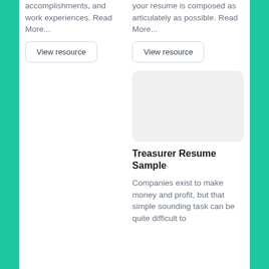accomplishments, and work experiences. Read More...
your resume is composed as articulately as possible. Read More...
View resource
View resource
[Figure (illustration): Gray placeholder image box for Treasurer Resume Sample]
Treasurer Resume Sample
Companies exist to make money and profit, but that simple sounding task can be quite difficult to